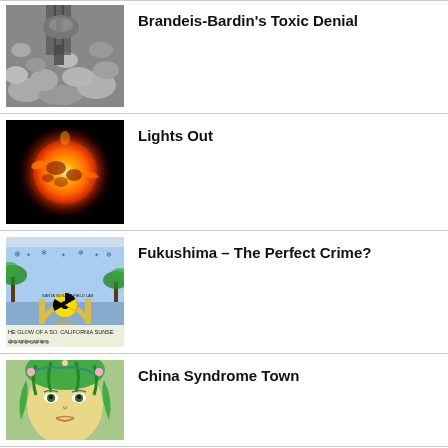[Figure (photo): Rocky stream with water flowing over stones, grayscale-toned photo]
Brandeis-Bardin's Toxic Denial
[Figure (photo): Orange glowing sun or plasma ball on black background]
Lights Out
[Figure (illustration): Illustration with radiation symbol arch over water, palm trees, caption HE GLOW OF A SO. CALIFORNIA SUNSET]
Fukushima – The Perfect Crime?
[Figure (illustration): Illustrated woman with green hair and flowers, artistic style]
China Syndrome Town